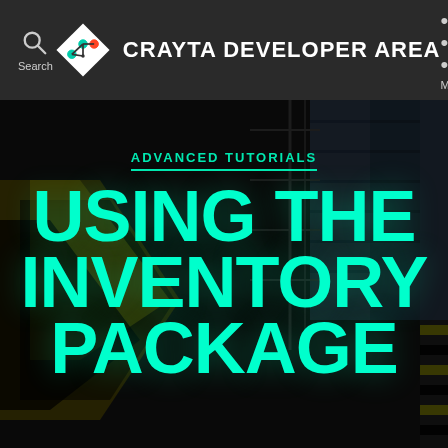CRAYTA DEVELOPER AREA
ADVANCED TUTORIALS
USING THE INVENTORY PACKAGE
[Figure (screenshot): Dark industrial warehouse background with yellow warning stripes and metal scaffolding structures. The image serves as the hero banner background for the Crayta Developer Area tutorial page.]